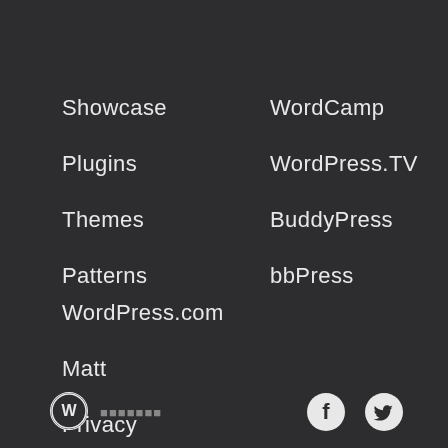Showcase
Plugins
Themes
Patterns
WordCamp
WordPress.TV
BuddyPress
bbPress
WordPress.com
Matt
Privacy
Public Code
WordPress logo, social icons (Facebook, Twitter)